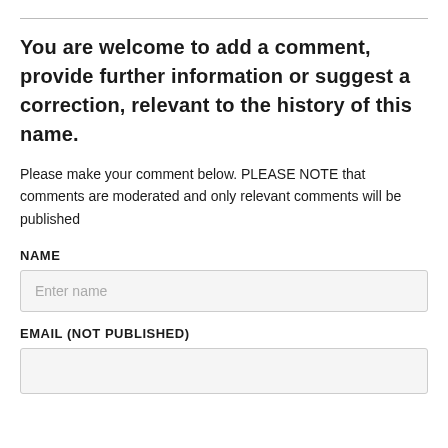You are welcome to add a comment, provide further information or suggest a correction, relevant to the history of this name.
Please make your comment below. PLEASE NOTE that comments are moderated and only relevant comments will be published
NAME
Enter name
EMAIL (NOT PUBLISHED)